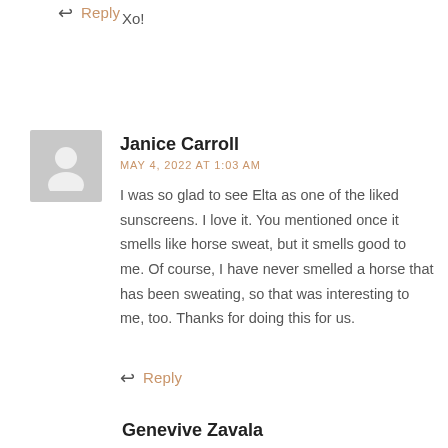Xo!
↩ Reply
Janice Carroll
MAY 4, 2022 AT 1:03 AM
I was so glad to see Elta as one of the liked sunscreens. I love it. You mentioned once it smells like horse sweat, but it smells good to me. Of course, I have never smelled a horse that has been sweating, so that was interesting to me, too. Thanks for doing this for us.
↩ Reply
Genevive Zavala